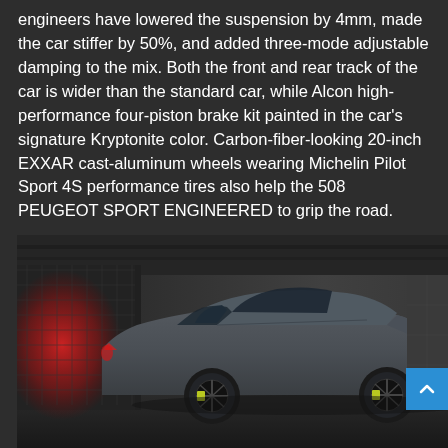engineers have lowered the suspension by 4mm, made the car stiffer by 50%, and added three-mode adjustable damping to the mix. Both the front and rear track of the car is wider than the standard car, while Alcon high-performance four-piston brake kit painted in the car's signature Kryptonite color. Carbon-fiber-looking 20-inch EXXAR cast-aluminum wheels wearing Michelin Pilot Sport 4S performance tires also help the 508 PEUGEOT SPORT ENGINEERED to grip the road.
[Figure (photo): Dark photograph of a grey Peugeot 508 PSE (Sport Engineered) sedan parked in a dark industrial garage/parking structure. The car is viewed from the side, showing its sporty silhouette with black wheels featuring yellow brake calipers. On the left side of the image there is a red glowing light/reflection and what appears to be a wire mesh fence or gate. The background shows a concrete wall and industrial ceiling. A blue scroll-to-top button is visible in the bottom right corner.]